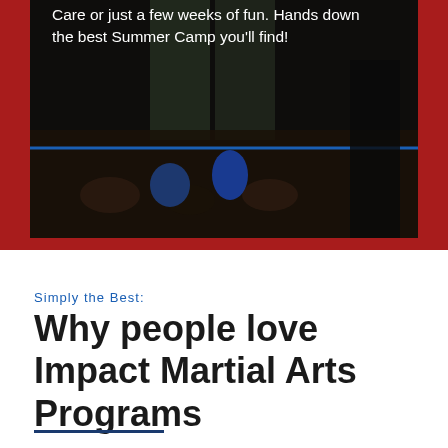[Figure (photo): Dark photo of a martial arts class with children sitting on a gym floor, instructor standing. A blue horizontal line divides the image. White overlay text about Summer Camp is at the top.]
Care or just a few weeks of fun. Hands down the best Summer Camp you'll find!
Simply the Best:
Why people love Impact Martial Arts Programs